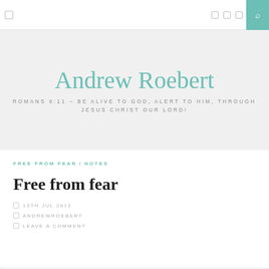Andrew Roebert
ROMANS 6:11 – BE ALIVE TO GOD, ALERT TO HIM, THROUGH JESUS CHRIST OUR LORD!
FREE FROM FEAR / NOTES
Free from fear
13TH JUL 2012
ANDREWROEBERT
LEAVE A COMMENT